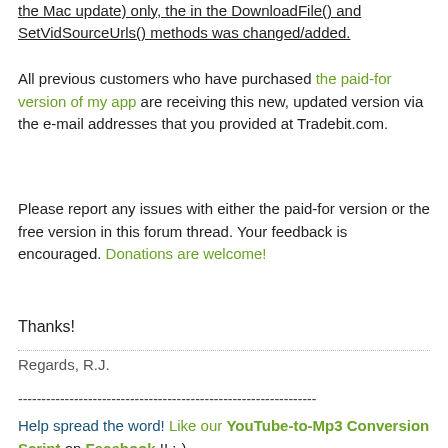the Mac update) only, the in the DownloadFile() and SetVidSourceUrls() methods was changed/added.
All previous customers who have purchased the paid-for version of my app are receiving this new, updated version via the e-mail addresses that you provided at Tradebit.com.
Please report any issues with either the paid-for version or the free version in this forum thread. Your feedback is encouraged. Donations are welcome!
Thanks!
Regards, R.J.
----------------------------------------------------------------
Help spread the word! Like our YouTube-to-Mp3 Conversion Script on Facebook !! :-)